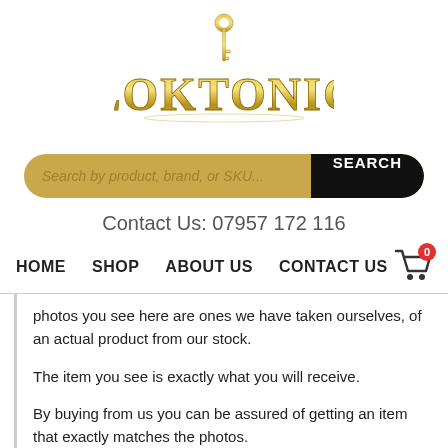[Figure (logo): Loktonic logo with a gold key above stylized gold text reading LOKTONIC]
[Figure (other): Search bar with placeholder 'Search by product, brand, or SKU...' and a black SEARCH button]
Contact Us: 07957 172 116
HOME   SHOP   ABOUT US   CONTACT US
photos you see here are ones we have taken ourselves, of an actual product from our stock.

The item you see is exactly what you will receive.

By buying from us you can be assured of getting an item that exactly matches the photos.